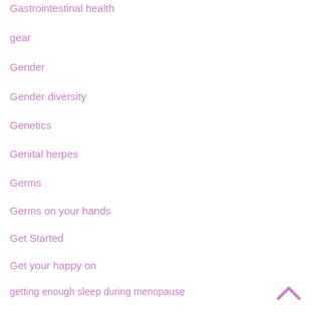Gastrointestinal health
gear
Gender
Gender diversity
Genetics
Genital herpes
Germs
Germs on your hands
Get Started
Get your happy on
getting enough sleep during menopause
getting the right nutrients
Gi health
gift